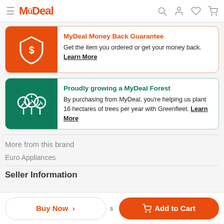MyDeal
[Figure (infographic): MyDeal Money Back Guarantee card with orange background shield icon and text: Proudly growing a MyDeal Forest card with green background trees icon and text]
More from this brand
Euro Appliances
Seller Information